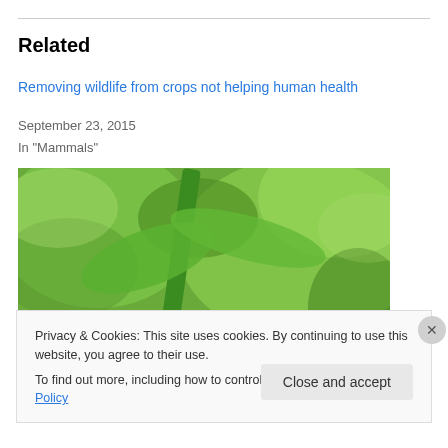Related
Removing wildlife from crops not helping human health
September 23, 2015
In "Mammals"
[Figure (photo): Close-up photo of green plants and moss growing on a stone wall or rock surface, with orange lichen visible.]
Privacy & Cookies: This site uses cookies. By continuing to use this website, you agree to their use.
To find out more, including how to control cookies, see here: Cookie Policy
Close and accept